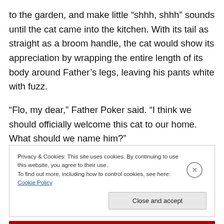to the garden, and make little “shhh, shhh” sounds until the cat came into the kitchen. With its tail as straight as a broom handle, the cat would show its appreciation by wrapping the entire length of its body around Father’s legs, leaving his pants white with fuzz.
“Flo, my dear,” Father Poker said. “I think we should officially welcome this cat to our home. What should we name him?”
Privacy & Cookies: This site uses cookies. By continuing to use this website, you agree to their use.
To find out more, including how to control cookies, see here: Cookie Policy